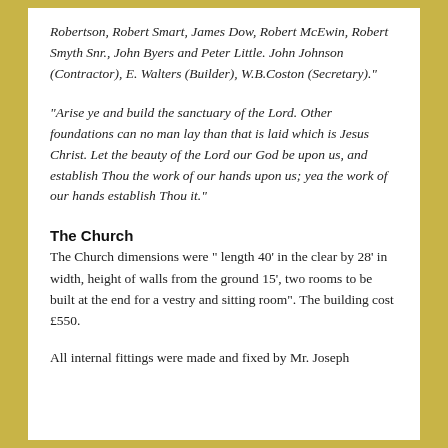Robertson, Robert Smart, James Dow, Robert McEwin, Robert Smyth Snr., John Byers and Peter Little. John Johnson (Contractor), E. Walters (Builder), W.B.Coston (Secretary)."
"Arise ye and build the sanctuary of the Lord. Other foundations can no man lay than that is laid which is Jesus Christ. Let the beauty of the Lord our God be upon us, and establish Thou the work of our hands upon us; yea the work of our hands establish Thou it."
The Church
The Church dimensions were " length 40' in the clear by 28' in width, height of walls from the ground 15', two rooms to be built at the end for a vestry and sitting room". The building cost £550.
All internal fittings were made and fixed by Mr. Joseph